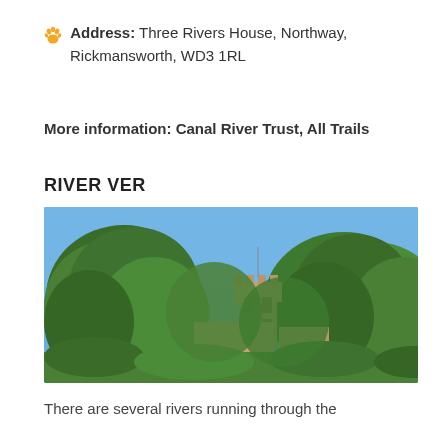Address: Three Rivers House, Northway, Rickmansworth, WD3 1RL
More information: Canal River Trust, All Trails
RIVER VER
[Figure (photo): Outdoor photograph showing a church tower or historic stone building partially visible above large green trees under a clear blue sky.]
There are several rivers running through the